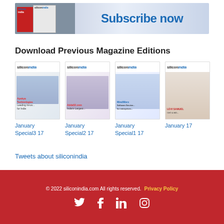[Figure (illustration): Subscribe now banner with siliconindia magazine covers on left and blue text 'Subscribe now' on right]
Download Previous Magazine Editions
[Figure (illustration): Four siliconindia magazine covers in a grid]
January Special3 17
January Special2 17
January Special1 17
January 17
Tweets about siliconindia
© 2022 siliconindia.com All rights reserved. Privacy Policy